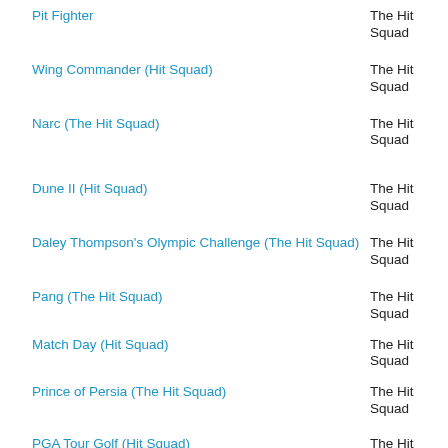Pit Fighter | The Hit Squad
Wing Commander (Hit Squad) | The Hit Squad
Narc (The Hit Squad) | The Hit Squad
Dune II (Hit Squad) | The Hit Squad
Daley Thompson's Olympic Challenge (The Hit Squad) | The Hit Squad
Pang (The Hit Squad) | The Hit Squad
Match Day (Hit Squad) | The Hit Squad
Prince of Persia (The Hit Squad) | The Hit Squad
PGA Tour Golf (Hit Squad) | The Hit Squad
Escape from the Planet of the Robot Monsters (Budget) | The Hit Squad
Pro Tennis Tour (Hit Squad) | The Hit Squad